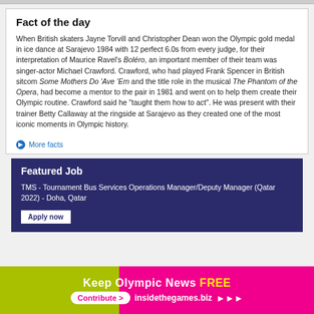Fact of the day
When British skaters Jayne Torvill and Christopher Dean won the Olympic gold medal in ice dance at Sarajevo 1984 with 12 perfect 6.0s from every judge, for their interpretation of Maurice Ravel's Boléro, an important member of their team was singer-actor Michael Crawford. Crawford, who had played Frank Spencer in British sitcom Some Mothers Do 'Ave 'Em and the title role in the musical The Phantom of the Opera, had become a mentor to the pair in 1981 and went on to help them create their Olympic routine. Crawford said he "taught them how to act". He was present with their trainer Betty Callaway at the ringside at Sarajevo as they created one of the most iconic moments in Olympic history.
More facts
Featured Job
TMS - Tournament Bus Services Operations Manager/Deputy Manager (Qatar 2022) - Doha, Qatar
Keep Olympic News FREE
Contribute > insidethegames.biz >>>